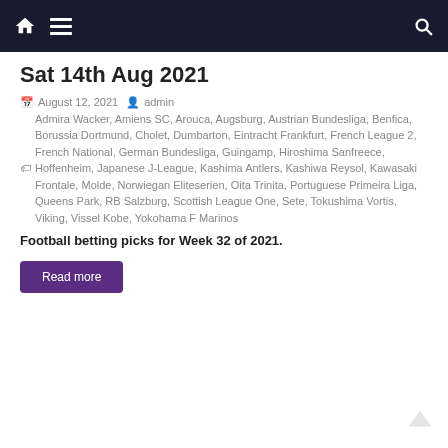Navigation bar with home, menu, and search icons
Sat 14th Aug 2021
August 12, 2021  admin  Admira Wacker, Amiens SC, Arouca, Augsburg, Austrian Bundesliga, Benfica, Borussia Dortmund, Cholet, Dumbarton, Eintracht Frankfurt, French League 2, French National, German Bundesliga, Guingamp, Hiroshima Sanfreece, Hoffenheim, Japanese J-League, Kashima Antlers, Kashiwa Reysol, Kawasaki Frontale, Molde, Norwiegan Eliteserien, Oita Trinita, Portuguese Primeira Liga, Queens Park, RB Salzburg, Scottish League One, Sete, Tokushima Vortis, Viking, Vissel Kobe, Yokohama F Marinos
Football betting picks for Week 32 of 2021.
Read more